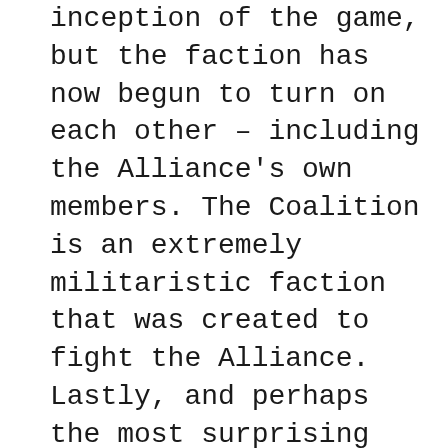inception of the game, but the faction has now begun to turn on each other – including the Alliance's own members. The Coalition is an extremely militaristic faction that was created to fight the Alliance. Lastly, and perhaps the most surprising faction of all, is the Empire, a faction that has been fighting the Alliance since the beginning of the game.
As I write this I'm excited as hell about the upcoming title. Let me stress that the title is a massive step in the right direction. It's very early in the game, but, with a few changes and improvements, Elite Dangerous Odyssey is looking to become a great